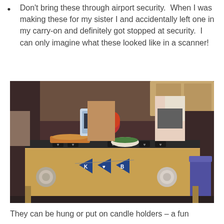Don't bring these through airport security.  When I was making these for my sister I and accidentally left one in my carry-on and definitely got stopped at security.  I can only imagine what these looked like in a scanner!
[Figure (photo): Photo of a kitchen island counter set up for a party. The counter is wood-toned and has food dishes, salads, and decorations on top including flowers. Hanging on the front are navy blue pennant flags spelling 'K ♥ B' and decorative paper rosettes. Two women are visible in the background.]
They can be hung or put on candle holders – a fun